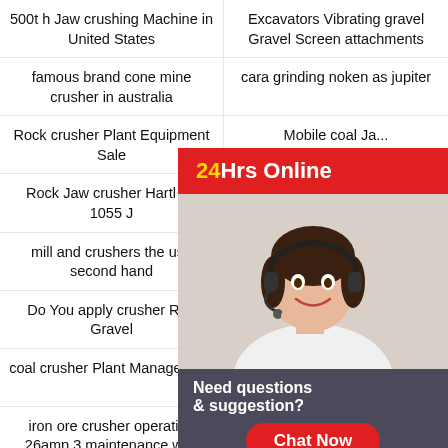500t h Jaw crushing Machine in United States
Excavators Vibrating gravel Gravel Screen attachments
famous brand cone mine crusher in australia
cara grinding noken as jupiter
Rock crusher Plant Equipment Sale
Mobile coal Jaw crusher Machine In...
Rock Jaw crusher Hartl Pc 1055 J
equipment wa...
mill and crushers the usa second hand
coal blending...
Do You apply crusher Run Gravel
Souix Valve...
coal crusher Plant Management
stone crusher... turbhe midc
iron ore crusher operation 26amp 3 maintenance with diagram
250 Tons Per Hour Jaw crusher Machine Spare Parts
mobile jaw crusher plant design layout
american pulverizer hammer mill
[Figure (infographic): 24Hrs Online chat widget with a woman wearing a headset and a 'Need questions & suggestion? Chat Now' button]